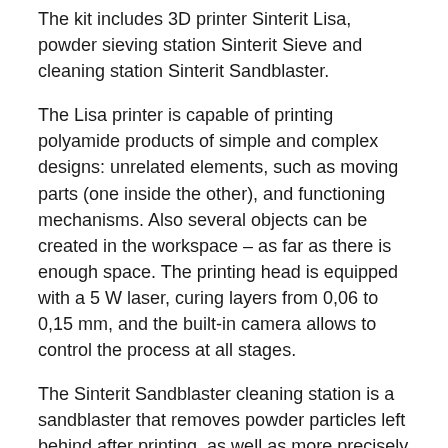The kit includes 3D printer Sinterit Lisa, powder sieving station Sinterit Sieve and cleaning station Sinterit Sandblaster.
The Lisa printer is capable of printing polyamide products of simple and complex designs: unrelated elements, such as moving parts (one inside the other), and functioning mechanisms. Also several objects can be created in the workspace – as far as there is enough space. The printing head is equipped with a 5 W laser, curing layers from 0,06 to 0,15 mm, and the built-in camera allows to control the process at all stages.
The Sinterit Sandblaster cleaning station is a sandblaster that removes powder particles left behind after printing, as well as more precisely treating and polishing the product. It is equipped with a blowing system. It has compact size and simple operation.
The Sinterit Sieve powder sifting station is a device which allows to clean used powder from impurities and melted lumps from result in falling out on the bottom, as which is high